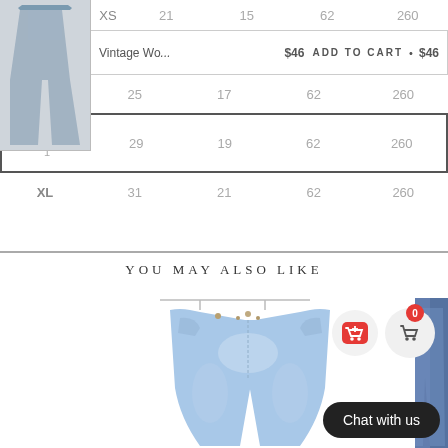| Size | W | H | Hip | Inseam |
| --- | --- | --- | --- | --- |
| XS | 21 | 15 | 62 | 260 |
| M | 25 | 17 | 62 | 260 |
| L | 29 | 19 | 62 | 260 |
| XL | 31 | 21 | 62 | 260 |
Vintage Wo... $46 ADD TO CART • $46
YOU MAY ALSO LIKE
[Figure (photo): Light blue bootcut jeans hanging on hanger, shown from front]
[Figure (photo): Dark blue jeans, partial view on right edge]
Chat with us